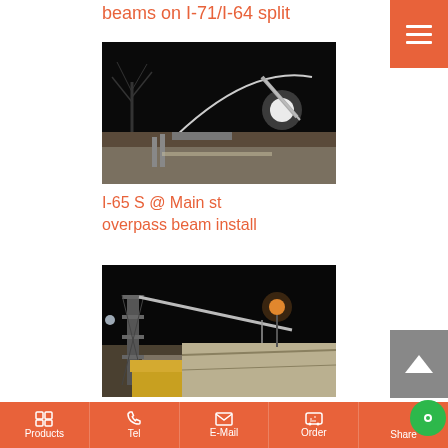beams on I-71/I-64 split
[Figure (photo): Night-time construction photo showing crane lifting bridge beams over highway overpass, bare trees visible in background, bright work lights illuminating scene]
I-65 S @ Main st overpass beam install
[Figure (photo): Night-time construction photo showing crane and construction equipment working on highway overpass beam installation, street lights and work lights visible]
Products  Tel  E-Mail  Order  Share